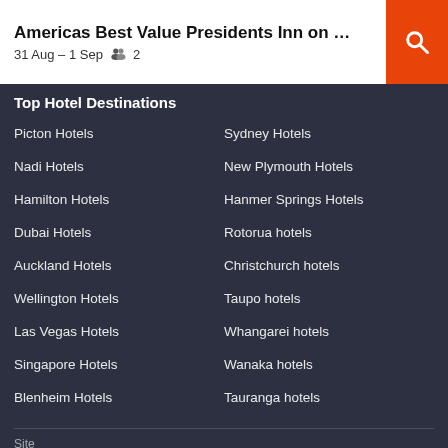Americas Best Value Presidents Inn on Munr...
31 Aug – 1 Sep  👥 2
Top Hotel Destinations
Picton Hotels
Sydney Hotels
Nadi Hotels
New Plymouth Hotels
Hamilton Hotels
Hanmer Springs Hotels
Dubai Hotels
Rotorua hotels
Auckland Hotels
Christchurch hotels
Wellington Hotels
Taupo hotels
Las Vegas Hotels
Whangarei hotels
Singapore Hotels
Wanaka hotels
Blenheim Hotels
Tauranga hotels
Site
NEW ZEALAND